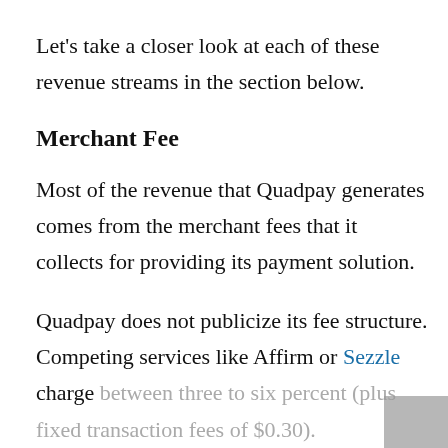Let's take a closer look at each of these revenue streams in the section below.
Merchant Fee
Most of the revenue that Quadpay generates comes from the merchant fees that it collects for providing its payment solution.
Quadpay does not publicize its fee structure. Competing services like Affirm or Sezzle charge between three to six percent (plus fixed transaction fees of $0.30).